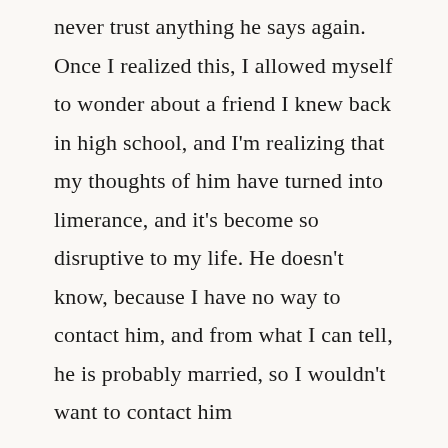never trust anything he says again. Once I realized this, I allowed myself to wonder about a friend I knew back in high school, and I'm realizing that my thoughts of him have turned into limerance, and it's become so disruptive to my life. He doesn't know, because I have no way to contact him, and from what I can tell, he is probably married, so I wouldn't want to contact him